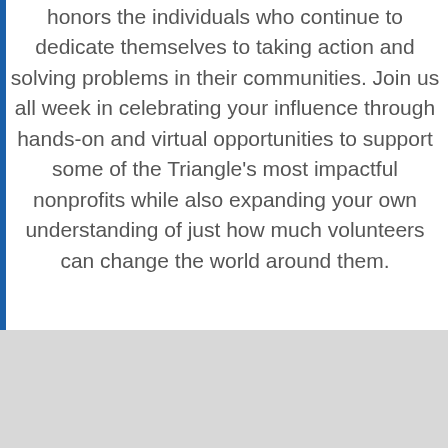honors the individuals who continue to dedicate themselves to taking action and solving problems in their communities. Join us all week in celebrating your influence through hands-on and virtual opportunities to support some of the Triangle's most impactful nonprofits while also expanding your own understanding of just how much volunteers can change the world around them.